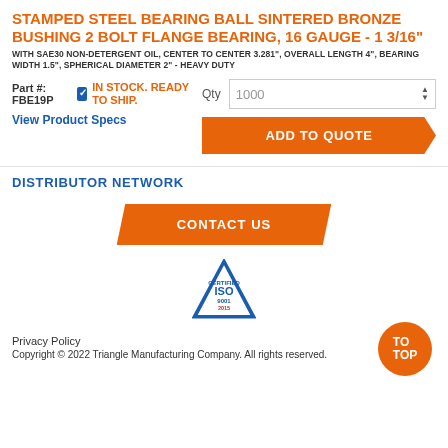STAMPED STEEL BEARING BALL SINTERED BRONZE BUSHING 2 BOLT FLANGE BEARING, 16 GAUGE - 1 3/16"
WITH SAE30 NON-DETERGENT OIL, CENTER TO CENTER 3.281", OVERALL LENGTH 4", BEARING WIDTH 1.5", SPHERICAL DIAMETER 2" - HEAVY DUTY
Part #: FBE19P  ☑ IN STOCK. READY TO SHIP.
View Product Specs
Qty  1000
ADD TO QUOTE
DISTRIBUTOR NETWORK
CONTACT US
[Figure (logo): ISO 9001:2015 Certified triangle badge logo]
TO TOP
Privacy Policy
Copyright © 2022 Triangle Manufacturing Company. All rights reserved.